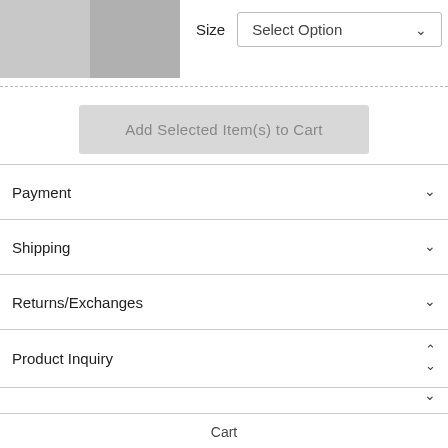[Figure (photo): Two photos of women's white pointed-toe heels against a grey background, side by side]
Size   Select Option
Add Selected Item(s) to Cart
Payment
Shipping
Returns/Exchanges
Product Inquiry
Customer Care
Cart